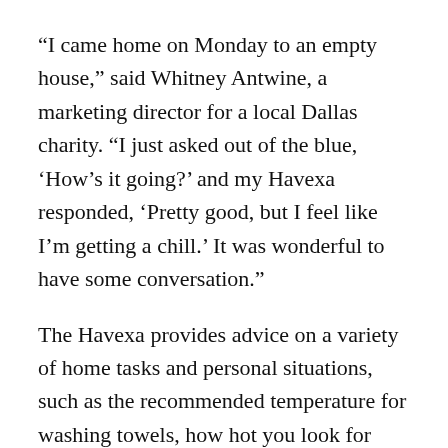“I came home on Monday to an empty house,” said Whitney Antwine, a marketing director for a local Dallas charity. “I just asked out of the blue, ‘How’s it going?’ and my Havexa responded, ‘Pretty good, but I feel like I’m getting a chill.’ It was wonderful to have some conversation.”
The Havexa provides advice on a variety of home tasks and personal situations, such as the recommended temperature for washing towels, how hot you look for your night out, or if you truly have time to Netflix and Chill on a certain evening. The Havexa can even tell you your mood – simply place your hand on your heating and cooling equipment and she can tell you how you’re feeling while you are getting it done.